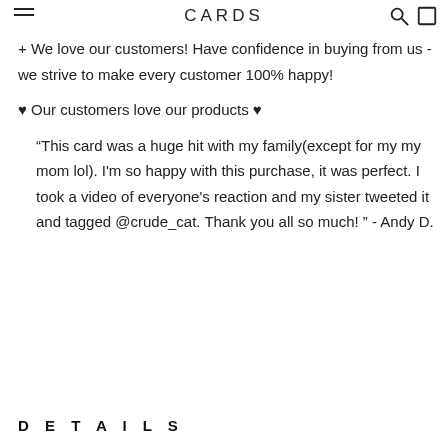CARDS
+ We love our customers! Have confidence in buying from us - we strive to make every customer 100% happy!
♥ Our customers love our products ♥
“This card was a huge hit with my family(except for my my mom lol). I'm so happy with this purchase, it was perfect. I took a video of everyone's reaction and my sister tweeted it and tagged @crude_cat. Thank you all so much! ” - Andy D.
DETAILS